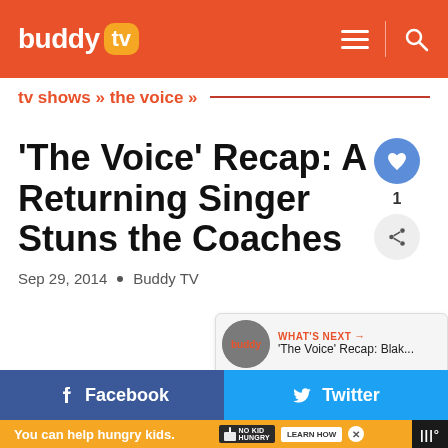buddy tv — navigation header with hamburger menu and search icon
tv shows » the voice »
'The Voice' Recap: A Returning Singer Stuns the Coaches
Sep 29, 2014  •  Buddy TV
[Figure (other): WHAT'S NEXT → 'The Voice' Recap: Blak... thumbnail with buddy tv logo]
Facebook
Twitter
You can help hungry kids. NO KID HUNGRY LEARN HOW